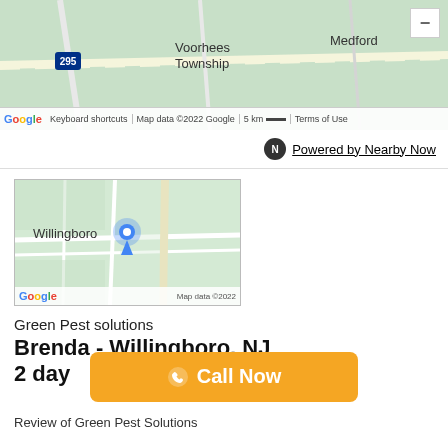[Figure (map): Google Maps view showing Voorhees Township, Medford, Tabernacle area in New Jersey with roads and route markers (295, 70)]
Powered by Nearby Now
[Figure (map): Small Google Maps view showing Willingboro, NJ area with a blue location pin marker]
Green Pest solutions
Brenda - Willingboro, NJ
2 day
Call Now
Review of Green Pest Solutions